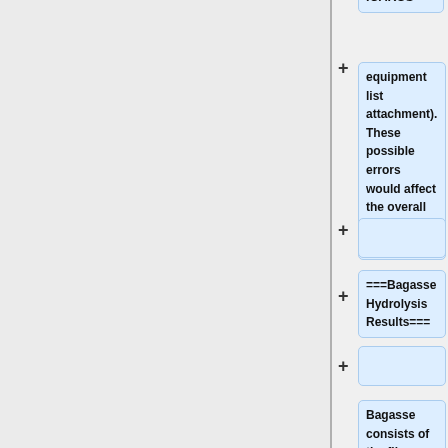ICARUS
equipment list attachment). These possible errors would affect the overall cost of the design.
===Bagasse Hydrolysis Results===
Bagasse consists of the fibers that come out of the diffuser and in industry, it is generally